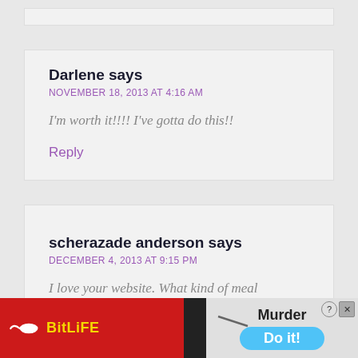Darlene says
NOVEMBER 18, 2013 AT 4:16 AM
I'm worth it!!!! I've gotta do this!!
Reply
scherazade anderson says
DECEMBER 4, 2013 AT 9:15 PM
I love your website. What kind of meal
[Figure (screenshot): BitLife advertisement banner showing red background with sperm logo and BitLife text, alongside a game ad saying Murder Do it! with a close button]